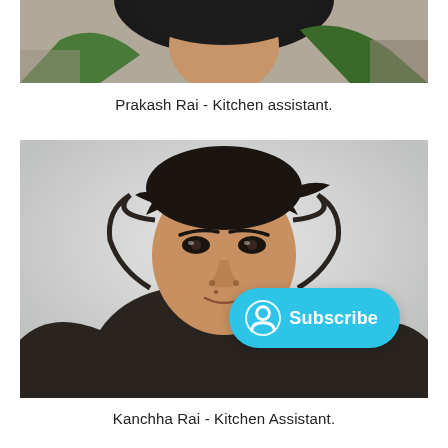[Figure (photo): Cropped top portion of a person wearing a green jacket and dark cap with a blue strap, outdoors against a rocky background. Only the upper face and jacket are visible.]
Prakash Rai - Kitchen assistant.
[Figure (photo): Portrait of a young man wearing a dark hoodie, looking at the camera with a slight smile. He has dark hair, and the background is a misty/foggy grey. A cyan 'Subscribe' button with a person icon overlays the lower right of the image.]
Kanchha Rai - Kitchen Assistant.